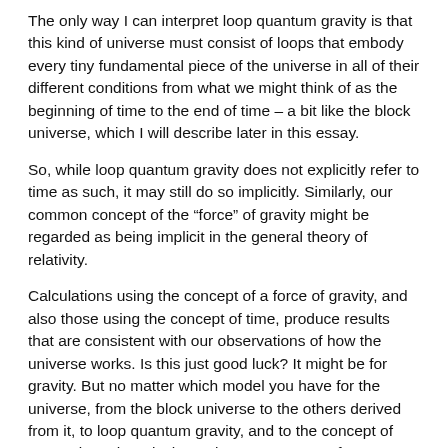The only way I can interpret loop quantum gravity is that this kind of universe must consist of loops that embody every tiny fundamental piece of the universe in all of their different conditions from what we might think of as the beginning of time to the end of time – a bit like the block universe, which I will describe later in this essay.
So, while loop quantum gravity does not explicitly refer to time as such, it may still do so implicitly. Similarly, our common concept of the “force” of gravity might be regarded as being implicit in the general theory of relativity.
Calculations using the concept of a force of gravity, and also those using the concept of time, produce results that are consistent with our observations of how the universe works. Is this just good luck? It might be for gravity. But no matter which model you have for the universe, from the block universe to the others derived from it, to loop quantum gravity, and to the concept of space-time, there is the curious occurrence of one particular component whose interactions and relationships are always unidirectional. This means that this component is not symmetrical in a way that all the others are. We call this component – or, perhaps, this relationship – time.
Symmetries